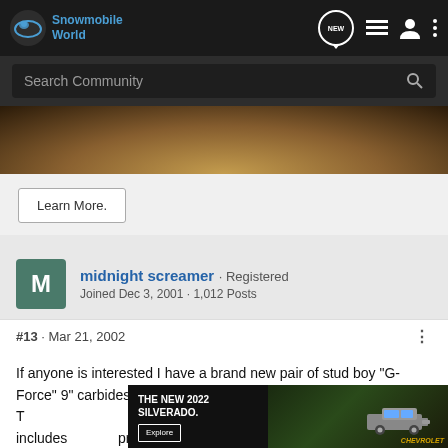Snowmobile World
[Figure (screenshot): Search Community bar with dark background]
[Figure (photo): Partial outdoor terrain/landscape photo used as advertisement banner]
Learn More.
midnight screamer · Registered
Joined Dec 3, 2001 · 1,012 Posts
#13 · Mar 21, 2002
If anyone is interested I have a brand new pair of stud boy "G-Force" 9" carbides that don't fit my sled. Item number #509-2088. T... includes private
[Figure (photo): THE NEW 2022 SILVERADO. Chevrolet advertisement with truck image and Explore button]